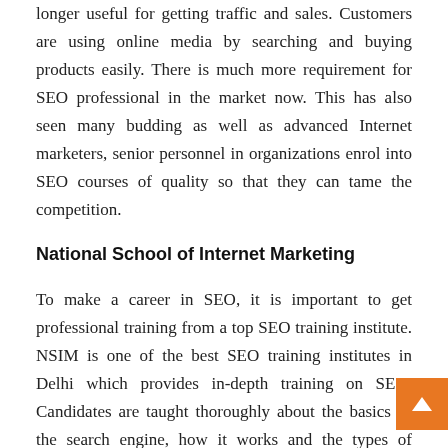longer useful for getting traffic and sales. Customers are using online media by searching and buying products easily. There is much more requirement for SEO professional in the market now. This has also seen many budding as well as advanced Internet marketers, senior personnel in organizations enrol into SEO courses of quality so that they can tame the competition.
National School of Internet Marketing
To make a career in SEO, it is important to get professional training from a top SEO training institute. NSIM is one of the best SEO training institutes in Delhi which provides in-depth training on SEO. Candidates are taught thoroughly about the basics of the search engine, how it works and the types of optimization techniques and the link buil[ding]